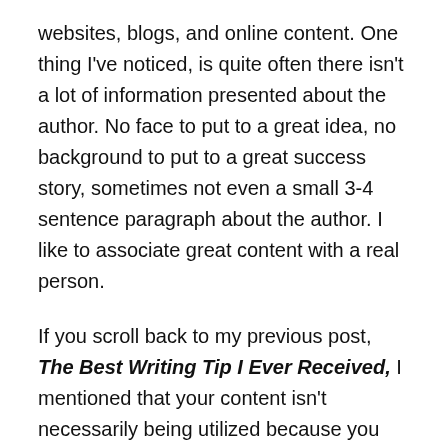websites, blogs, and online content. One thing I've noticed, is quite often there isn't a lot of information presented about the author. No face to put to a great idea, no background to put to a great success story, sometimes not even a small 3-4 sentence paragraph about the author. I like to associate great content with a real person.
If you scroll back to my previous post, The Best Writing Tip I Ever Received, I mentioned that your content isn't necessarily being utilized because you have great hair (which would be none of us right now). It isn't personal – however, that might be true for the business side of things, but what about your website or blog?